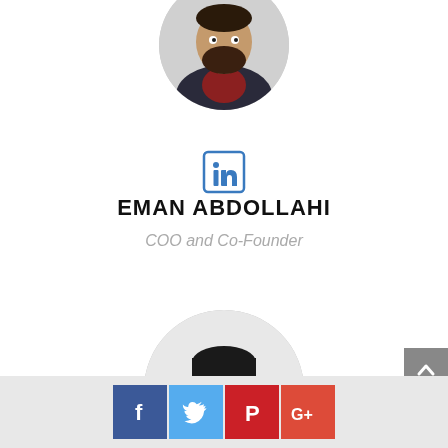[Figure (photo): Circular profile photo of a bearded man in a dark jacket, cropped at top of page]
[Figure (logo): LinkedIn icon in blue outline style]
EMAN ABDOLLAHI
COO and Co-Founder
[Figure (photo): Circular black and white profile photo of a young person with glasses and short dark hair]
[Figure (logo): Social media share buttons: Facebook (blue), Twitter (light blue), Pinterest (red), Google+ (red)]